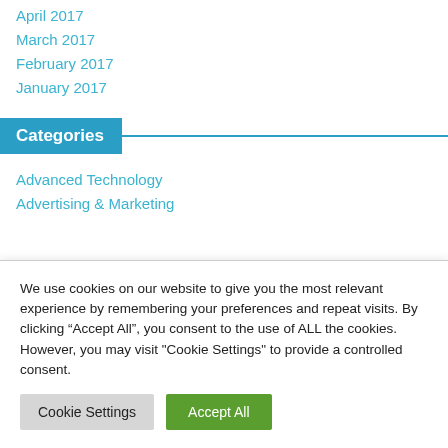April 2017
March 2017
February 2017
January 2017
Categories
Advanced Technology
Advertising & Marketing
We use cookies on our website to give you the most relevant experience by remembering your preferences and repeat visits. By clicking “Accept All”, you consent to the use of ALL the cookies. However, you may visit "Cookie Settings" to provide a controlled consent.
Cookie Settings | Accept All